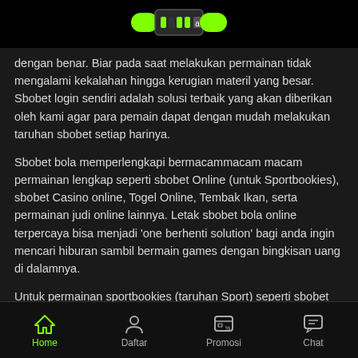[Logo/branding icon bar]
dengan benar. Biar pada saat melakukan permainan tidak mengalami kekalahan hingga kerugian materil yang besar. Sbobet login sendiri adalah solusi terbaik yang akan diberikan oleh kami agar para pemain dapat dengan mudah melakukan taruhan sbobet setiap harinya.
Sbobet bola memperlengkapi bermacammacam macam permainan lengkap seperti sbobet Online (untuk Sportbookies), sbobet Casino online, Togel Online, Tembak Ikan, serta permainan judi online lainnya. Letak sbobet bola online terpercaya bisa menjadi 'one berhenti solution' bagi anda ingin mencari hiburan sambil bermain games dengan bingkisan uang di dalamnya.
Untuk permainan sportbookies (taruhan Sport) seperti sbobet asia, merancang pasaran sepakbola dari beberapa ratus union berbeda. Bahkan bila kalian pecinta bola cacing, kau bisa memainkan taruhan dari kompetisi kelas dua seperti Yunani Div 2/ Italia Seri B
Home  Daftar  Promosi  Chat